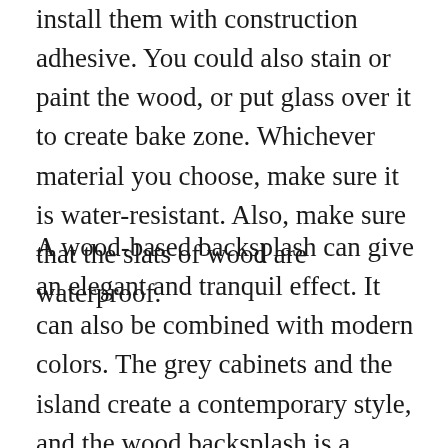install them with construction adhesive. You could also stain or paint the wood, or put glass over it to create bake zone. Whichever material you choose, make sure it is water-resistant. Also, make sure that the slats of wood are waterproof.
A wood-based backsplash can give an elegant and tranquil effect. It can also be combined with modern colors. The grey cabinets and the island create a contemporary style, and the wood backsplash is a fantastic complement. It’s a bold and provides a welcoming ambiance to any cooking. If you’re concerned about committing to an old-fashioned wood backsplash. Don’t fret